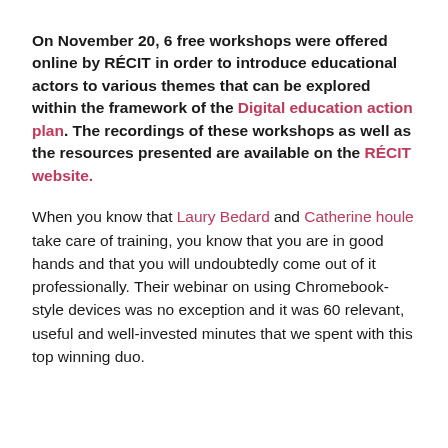On November 20, 6 free workshops were offered online by RÉCIT in order to introduce educational actors to various themes that can be explored within the framework of the Digital education action plan. The recordings of these workshops as well as the resources presented are available on the RÉCIT website.
When you know that Laury Bedard and Catherine houle take care of training, you know that you are in good hands and that you will undoubtedly come out of it professionally. Their webinar on using Chromebook-style devices was no exception and it was 60 relevant, useful and well-invested minutes that we spent with this top winning duo.